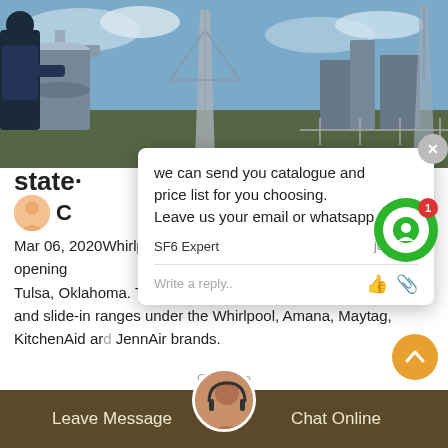[Figure (photo): Industrial/electrical substation scene with power transformers and transmission towers against blue sky]
we can send you catalogue and price list for you choosing.
Leave us your email or whatsapp .
SF6 Expert   just now
Write a reply..
state-...ant
Mar 06, 2020Whirlpool Corporation announced the official opening on Center (FDC) a... in Tulsa, Oklahoma. The existing plant produces freestanding and slide-in ranges under the Whirlpool, Amana, Maytag, KitchenAid and JennAir brands.
Leave Message   Chat Online